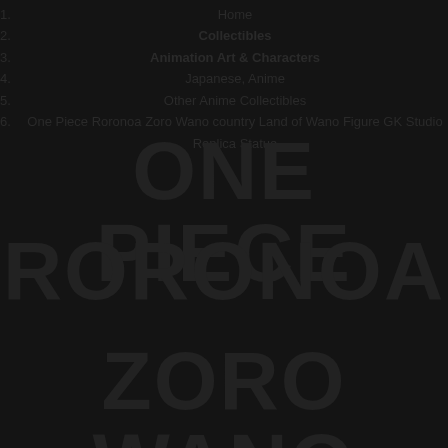1. Home
2. Collectibles
3. Animation Art & Characters
4. Japanese, Anime
5. Other Anime Collectibles
6. One Piece Roronoa Zoro Wano country Land of Wano Figure GK Studio Replica Statue
ONE PIECE
RORONOA
ZORO WANO